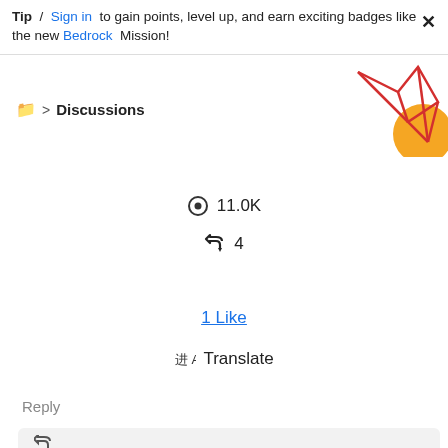Tip / Sign in to gain points, level up, and earn exciting badges like the new Bedrock Mission!
[Figure (illustration): Decorative graphic with red geometric lines and orange circle in top right corner]
Discussions
11.0K views, 4 replies
1 Like
Translate
Reply
sd55 Level 2 - 05-09-2019 00:59 PDT - In response to antoniom5495929